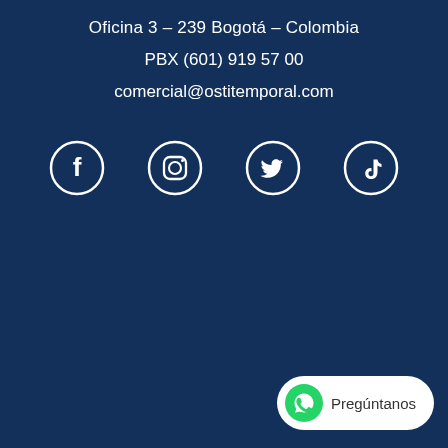Oficina 3 – 239 Bogotá – Colombia
PBX (601) 919 57 00
comercial@ostitemporal.com
[Figure (infographic): Four social media icons in white circle outlines on dark blue background: Facebook, Instagram, Twitter, TikTok]
[Figure (infographic): WhatsApp chat button in bottom right corner with green WhatsApp icon and text 'Pregúntanos']